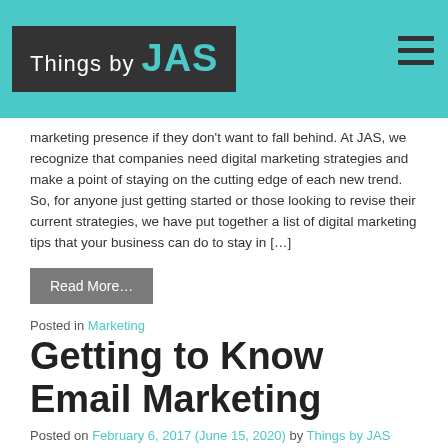Things by JAS
marketing presence if they don't want to fall behind. At JAS, we recognize that companies need digital marketing strategies and make a point of staying on the cutting edge of each new trend. So, for anyone just getting started or those looking to revise their current strategies, we have put together a list of digital marketing tips that your business can do to stay in […]
Read More…
Posted in Marketing
Getting to Know Email Marketing
Posted on February 6, 2017 (June 15, 2020) by Things by JAS
You need digital marketing. But, you may find yourself wondering where to start. The answer to that question is actually right in your inbox. Email marketing is an efficient way to ensure customer loyalty and brand recognition by means of regular advertising, business requests, and sales updates. An email marketing campaign will also allow you to cut down on costs that come along with traditional marketing methods. With just a few simple steps, you can market your product to those who are far more likely to be interested in your services. Understanding the Benefits The digital nature of email completely removes […]